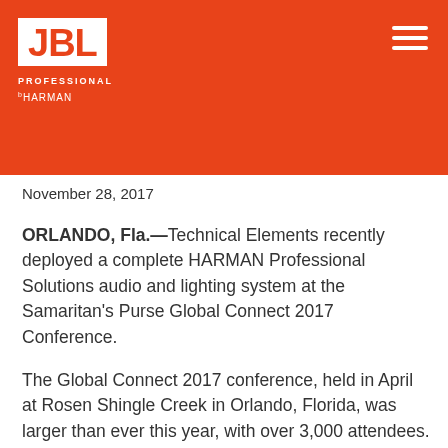[Figure (logo): JBL Professional by HARMAN logo on orange background with hamburger menu icon]
November 28, 2017
ORLANDO, Fla.—Technical Elements recently deployed a complete HARMAN Professional Solutions audio and lighting system at the Samaritan's Purse Global Connect 2017 Conference.
The Global Connect 2017 conference, held in April at Rosen Shingle Creek in Orlando, Florida, was larger than ever this year, with over 3,000 attendees. For the third year in a row, Atlanta-based audio-visual rental company Technical Elements was hired to provide sound and lighting for the speeches and music in the 95,000-square-foot Gatlin Ballroom, as well as dozens of separate rooms throughout the facility. In order to elevate the event's production values